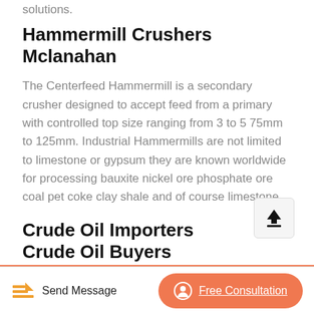solutions.
Hammermill Crushers Mclanahan
The Centerfeed Hammermill is a secondary crusher designed to accept feed from a primary with controlled top size ranging from 3 to 5 75mm to 125mm. Industrial Hammermills are not limited to limestone or gypsum they are known worldwide for processing bauxite nickel ore phosphate ore coal pet coke clay shale and of course limestone.
Crude Oil Importers Crude Oil Buyers Exporthub
Buy crude oil petroleum products importer . We are petroleum products importexport consulting firm in India
Send Message   Free Consultation